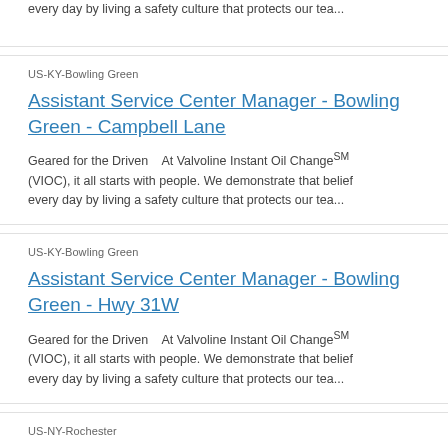every day by living a safety culture that protects our tea...
US-KY-Bowling Green
Assistant Service Center Manager - Bowling Green - Campbell Lane
Geared for the Driven   At Valvoline Instant Oil ChangeSM (VIOC), it all starts with people. We demonstrate that belief every day by living a safety culture that protects our tea...
US-KY-Bowling Green
Assistant Service Center Manager - Bowling Green - Hwy 31W
Geared for the Driven   At Valvoline Instant Oil ChangeSM (VIOC), it all starts with people. We demonstrate that belief every day by living a safety culture that protects our tea...
US-NY-Rochester